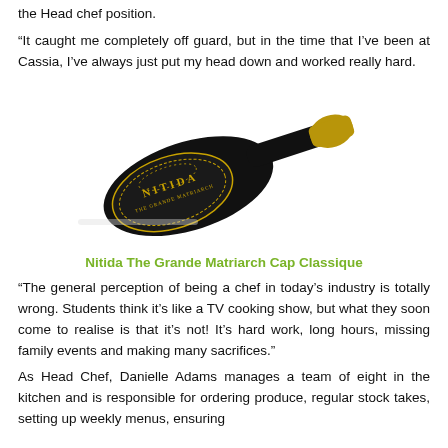the Head chef position.
“It caught me completely off guard, but in the time that I’ve been at Cassia, I’ve always just put my head down and worked really hard.
[Figure (photo): A bottle of Nitida The Grande Matriarch Cap Classique sparkling wine, black bottle with gold label and gold foil cap, lying diagonally.]
Nitida The Grande Matriarch Cap Classique
“The general perception of being a chef in today’s industry is totally wrong. Students think it’s like a TV cooking show, but what they soon come to realise is that it’s not! It’s hard work, long hours, missing family events and making many sacrifices.”
As Head Chef, Danielle Adams manages a team of eight in the kitchen and is responsible for ordering produce, regular stock takes, setting up weekly menus, ensuring